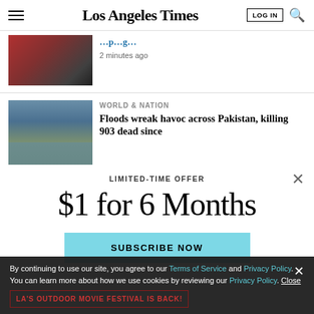Los Angeles Times
[Figure (photo): Partial photo of people at a protest or gathering, cropped at top]
2 minutes ago
WORLD & NATION
[Figure (photo): Floods in Pakistan — flooded street with buildings and water]
Floods wreak havoc across Pakistan, killing 903 dead since
LIMITED-TIME OFFER
$1 for 6 Months
SUBSCRIBE NOW
By continuing to use our site, you agree to our Terms of Service and Privacy Policy. You can learn more about how we use cookies by reviewing our Privacy Policy. Close
LA'S OUTDOOR MOVIE FESTIVAL IS BACK!